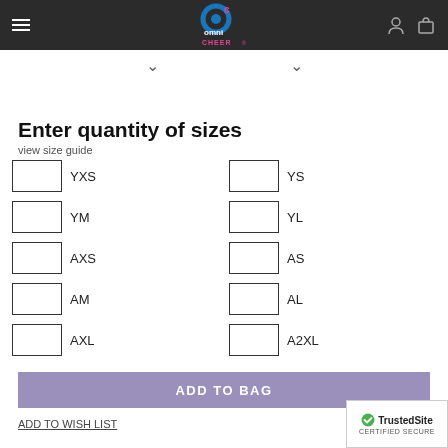[Figure (logo): Omni Cheer logo in navigation bar]
Enter quantity of sizes
view size guide
| Input | Size |
| --- | --- |
|  | YXS |
|  | YS |
|  | YM |
|  | YL |
|  | AXS |
|  | AS |
|  | AM |
|  | AL |
|  | AXL |
|  | A2XL |
ADD TO BAG
ADD TO WISH LIST
[Figure (logo): TrustedSite CERTIFIED SECURE badge]